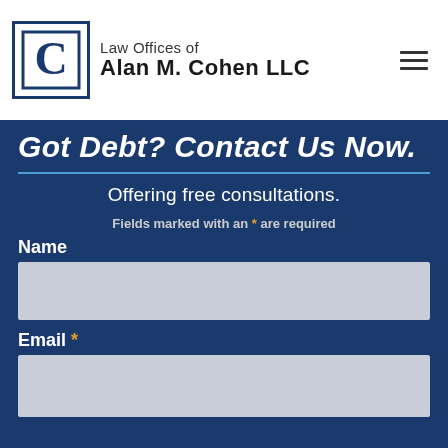Law Offices of Alan M. Cohen LLC
Got Debt? Contact Us Now.
Offering free consultations.
Fields marked with an * are required
Name
Email *